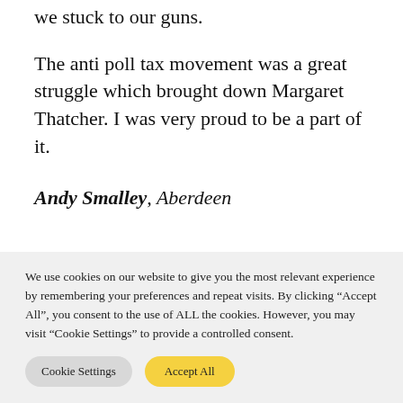we stuck to our guns.
The anti poll tax movement was a great struggle which brought down Margaret Thatcher. I was very proud to be a part of it.
Andy Smalley, Aberdeen
We use cookies on our website to give you the most relevant experience by remembering your preferences and repeat visits. By clicking "Accept All", you consent to the use of ALL the cookies. However, you may visit "Cookie Settings" to provide a controlled consent.